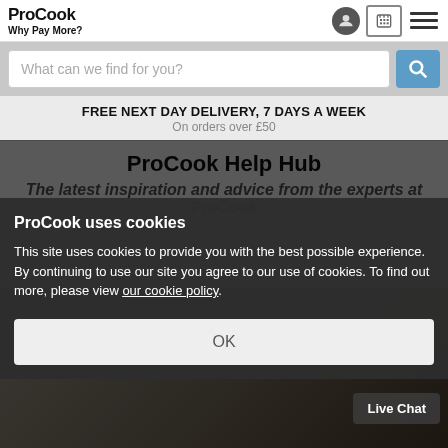ProCook — Why Pay More?
What can we find for you?
FREE NEXT DAY DELIVERY, 7 DAYS A WEEK
On orders over £50
ProCook Help Hub
The latest inspiration and advice from the experts at ProCook
ProCook uses cookies
This site uses cookies to provide you with the best possible experience. By continuing to use our site you agree to our use of cookies. To find out more, please view our cookie policy.
OK